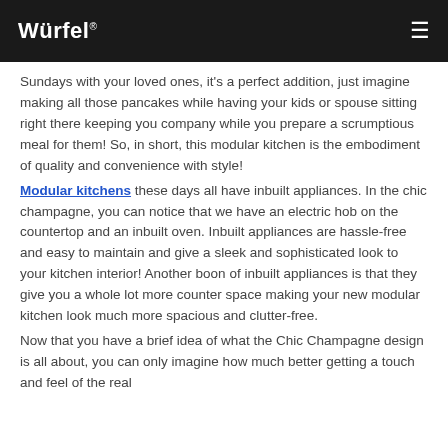Würfel®
Sundays with your loved ones, it's a perfect addition, just imagine making all those pancakes while having your kids or spouse sitting right there keeping you company while you prepare a scrumptious meal for them! So, in short, this modular kitchen is the embodiment of quality and convenience with style!
Modular kitchens these days all have inbuilt appliances. In the chic champagne, you can notice that we have an electric hob on the countertop and an inbuilt oven. Inbuilt appliances are hassle-free and easy to maintain and give a sleek and sophisticated look to your kitchen interior! Another boon of inbuilt appliances is that they give you a whole lot more counter space making your new modular kitchen look much more spacious and clutter-free.
Now that you have a brief idea of what the Chic Champagne design is all about, you can only imagine how much better getting a touch and feel of the real